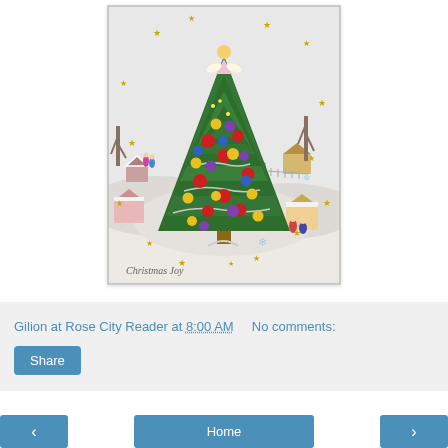[Figure (illustration): Vintage Christmas card illustration titled 'Christmas Joy' showing a decorated Christmas tree with colorful ornaments (red, yellow, purple, blue) in a snowy winter village scene with small houses, trees, and carolers. A golden angel topper on the tree. Gold stars scattered in the snow. Text 'Christmas Joy' in cursive at the bottom left.]
Gilion at Rose City Reader at 8:00 AM    No comments:
Share
‹
Home
›